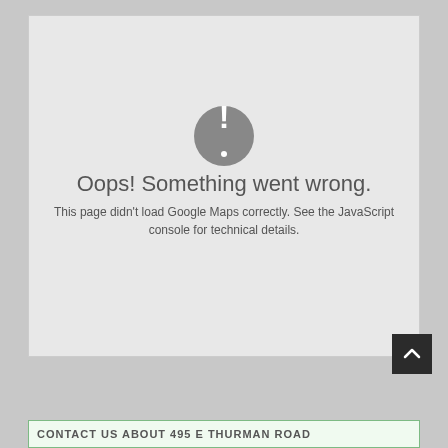[Figure (map): Google Maps error display: a light grey map container showing an error icon (dark grey circle with white exclamation mark) and the message 'Oops! Something went wrong. This page didn't load Google Maps correctly. See the JavaScript console for technical details.']
[Figure (other): Back to top button — dark/black square button with a white up-arrow chevron, positioned bottom-right]
CONTACT US ABOUT 495 E THURMAN ROAD